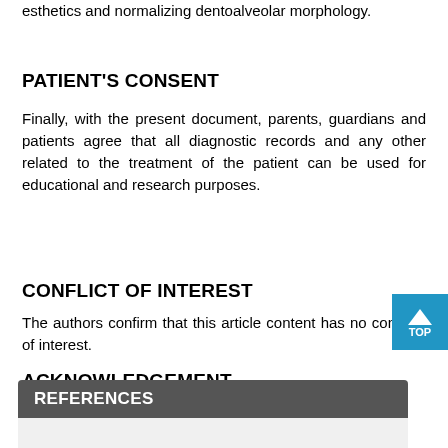esthetics and normalizing dentoalveolar morphology.
PATIENT'S CONSENT
Finally, with the present document, parents, guardians and patients agree that all diagnostic records and any other related to the treatment of the patient can be used for educational and research purposes.
CONFLICT OF INTEREST
The authors confirm that this article content has no conflicts of interest.
ACKNOWLEDGEMENT
Declared none.
REFERENCES